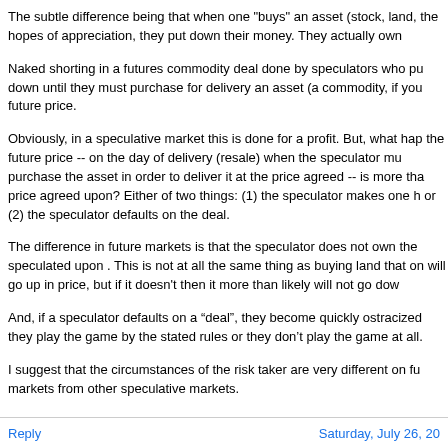The subtle difference being that when one "buys" an asset (stock, land, the hopes of appreciation, they put down their money. They actually own
Naked shorting in a futures commodity deal done by speculators who put down until they must purchase for delivery an asset (a commodity, if you future price.
Obviously, in a speculative market this is done for a profit. But, what happens the future price -- on the day of delivery (resale) when the speculator must purchase the asset in order to deliver it at the price agreed -- is more than the price agreed upon? Either of two things: (1) the speculator makes one huge loss or (2) the speculator defaults on the deal.
The difference in future markets is that the speculator does not own the asset speculated upon . This is not at all the same thing as buying land that one hopes will go up in price, but if it doesn't then it more than likely will not go down
And, if a speculator defaults on a “deal”, they become quickly ostracized they play the game by the stated rules or they don’t play the game at all.
I suggest that the circumstances of the risk taker are very different on fu markets from other speculative markets.
Reply   Saturday, July 26, 20